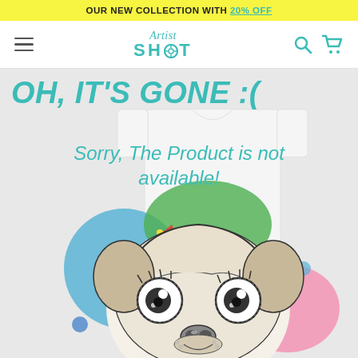OUR NEW COLLECTION WITH 20% OFF
[Figure (logo): Artist Shot logo with teal/cyan text, italic 'Artist' above bold 'SHOT' with a target/crosshair inside the O]
OH, IT'S GONE :(
Sorry, The Product is not available!
[Figure (illustration): Detailed black and white illustration of a pug dog face with colorful abstract background elements (blue, green, red, pink circles and shapes), positioned on a white t-shirt background]